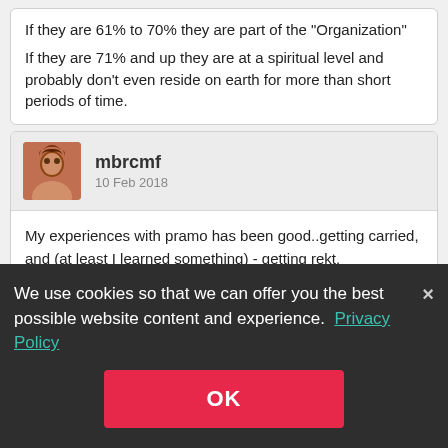If they are 61% to 70% they are part of the "Organization"
If they are 71% and up they are at a spiritual level and probably don't even reside on earth for more than short periods of time.
mbrcmf
10 Feb 2018
My experiences with pramo has been good..getting carried, and (at least I learned something) - getting rekt.

iRaikkonen provided our cw team with strats (which I still don't know why they didn't utilize) and doomy has been in more bwing training rooms than some of our own members.

o7 to each of you.
We use cookies so that we can offer you the best possible website content and experience. Privacy Policy
OK